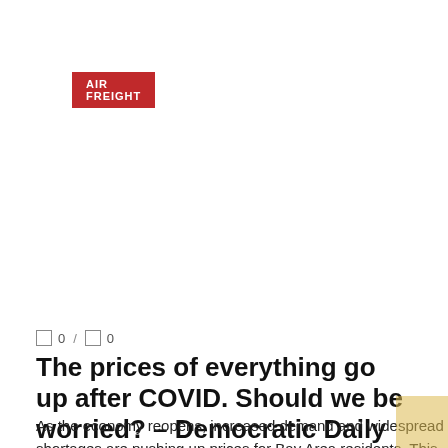AIR FREIGHT
□ 0 / □ 0
The prices of everything go up after COVID. Should we be worried? – Democratic Daily
As the economy reopens, increased demand and widespread shortages are pushing up prices for Bay Area residents. This is the latest pain in the COVID-